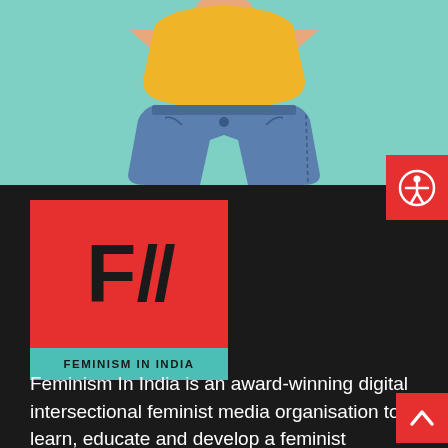[Figure (illustration): Illustration of a person wearing a yellow top and blue jeans with arms crossed, partially cropped, against a teal/mint green background. A red accessibility icon button is visible in the top-right corner of the dark section.]
[Figure (logo): Feminism In India logo: red square with bold black 'F//' text, below which is a teal/green bar reading 'FEMINISM IN INDIA' in black bold uppercase letters.]
Feminism In India is an award-winning digital intersectional feminist media organisation to learn, educate and develop a feminist sensibility among th...